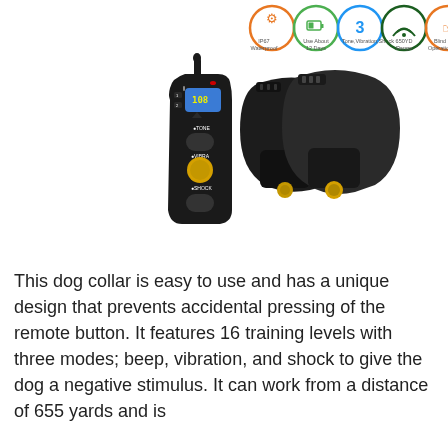[Figure (photo): Product photo of a dog training collar system consisting of a black handheld remote transmitter with LCD display, TONE, VIBRA, and SHOCK buttons, a yellow dial, and two black receiver collar straps with gold contact points. Above the product are five feature icons: IP67 Waterproof (orange), Use About 12 Days (green battery), 3 Mode/Tone/Vibration/Shock (blue), 650YD Range (dark green), Blind Operation (orange).]
This dog collar is easy to use and has a unique design that prevents accidental pressing of the remote button. It features 16 training levels with three modes; beep, vibration, and shock to give the dog a negative stimulus. It can work from a distance of 655 yards and is